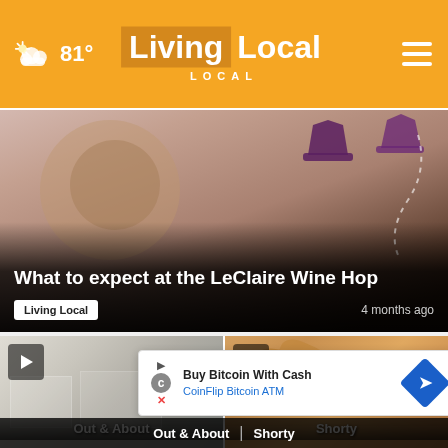Living Local — 81° weather header with navigation
[Figure (screenshot): Main featured video thumbnail showing illustrated wine hop art with pink/mauve background, text overlay 'What to expect at the LeClaire Wine Hop', tag 'Living Local', timestamp '4 months ago']
What to expect at the LeClaire Wine Hop
Living Local   4 months ago
[Figure (screenshot): Video thumbnail of an interior retail/liquor store with play button overlay, label 'Out & About' at bottom]
[Figure (screenshot): Video thumbnail of fried food/chicken wings closeup with play button overlay, label 'Shorty' at bottom, close X button visible]
Buy Bitcoin With Cash
CoinFlip Bitcoin ATM
Out & About | Shorty